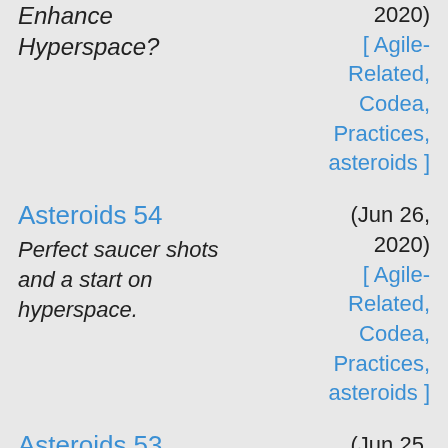2020) [ Agile-Related, Codea, Practices, asteroids ]
Asteroids 54
Perfect saucer shots and a start on hyperspace.
(Jun 26, 2020) [ Agile-Related, Codea, Practices, asteroids ]
Asteroids 53
Let's put in some options.
(Jun 25, 2020) [ Agile-